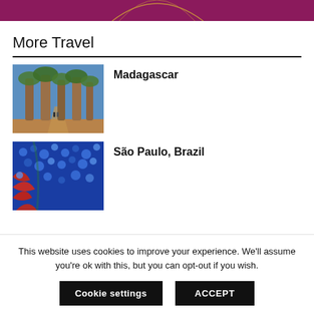[Figure (illustration): Top banner with dark magenta/purple background and decorative golden arc lines]
More Travel
[Figure (photo): Tall baobab trees lining a dirt path under a blue sky in Madagascar]
Madagascar
[Figure (photo): Close-up of colorful blue and red textured fabric or natural pattern, São Paulo, Brazil]
São Paulo, Brazil
This website uses cookies to improve your experience. We'll assume you're ok with this, but you can opt-out if you wish.
Cookie settings
ACCEPT